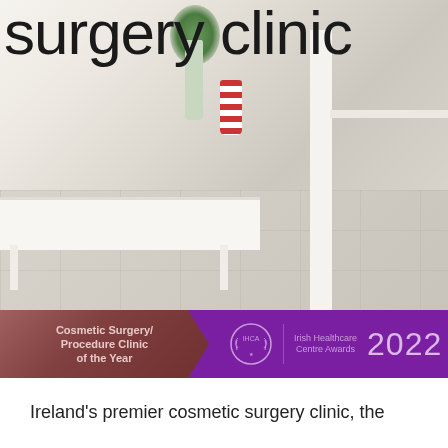surgery clinic
[Figure (photo): Interior of a bright, modern cosmetic surgery clinic with white furniture, a reception desk, striped decorative cups, green plant, and light tiled floors. Large text 'surgery clinic' overlaid at the top.]
Cosmetic Surgery/ Procedure Clinic of the Year | IHCA Irish Healthcare Centre Awards 2022
Ireland's premier cosmetic surgery clinic, the